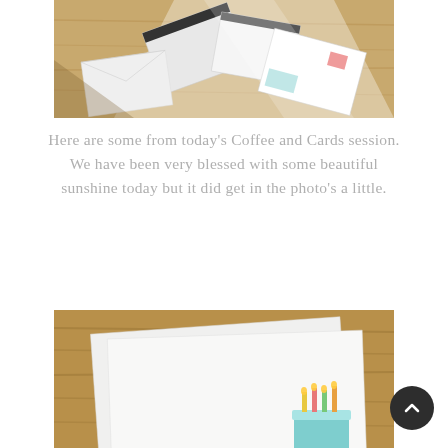[Figure (photo): Photo of greeting cards and envelopes scattered on a wooden table surface with bright sunlight casting shadows across them]
Here are some from today's Coffee and Cards session. We have been very blessed with some beautiful sunshine today but it did get in the photo's a little.
[Figure (photo): Close-up photo of white greeting cards on a wooden table, featuring an illustrated birthday cake design with candles]